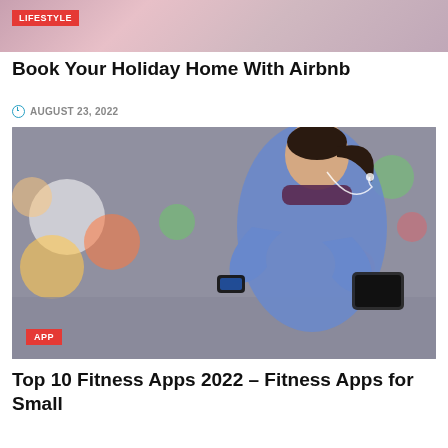[Figure (photo): Top partial image with pink/purple bokeh background, LIFESTYLE badge in red]
Book Your Holiday Home With Airbnb
AUGUST 23, 2022
[Figure (photo): Woman runner in blue jacket checking smartwatch, earbuds in, phone strapped to arm, bokeh city lights background, APP badge in red]
Top 10 Fitness Apps 2022 – Fitness Apps for Small